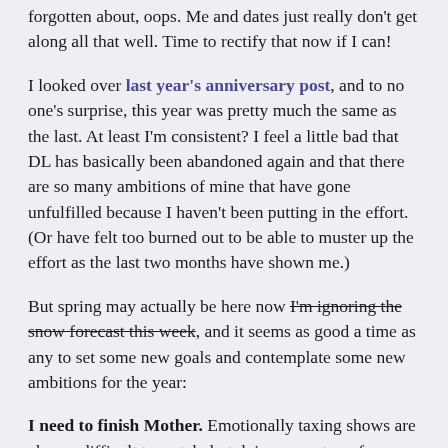forgotten about, oops. Me and dates just really don't get along all that well. Time to rectify that now if I can!
I looked over last year's anniversary post, and to no one's surprise, this year was pretty much the same as the last. At least I'm consistent? I feel a little bad that DL has basically been abandoned again and that there are so many ambitions of mine that have gone unfulfilled because I haven't been putting in the effort. (Or have felt too burned out to be able to muster up the effort as the last two months have shown me.)
But spring may actually be here now [strikethrough: I'm ignoring the snow forecast this week], and it seems as good a time as any to set some new goals and contemplate some new ambitions for the year:
I need to finish Mother. Emotionally taxing shows are always difficult to watch, but doing so on top of professional and familial burnout is a new level altogether. I've been procrastinating because it's clear that our heroines are going to be caught and torn apart sooner rather than later, and I haven't been ready for